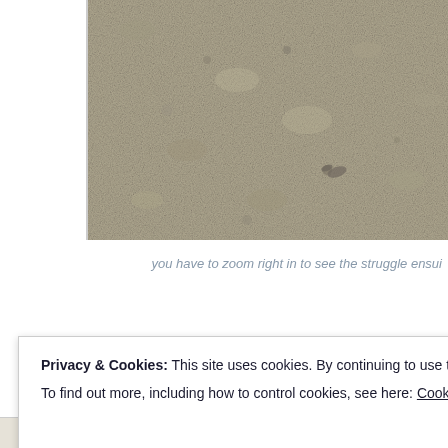[Figure (photo): Close-up photograph of sand or granular soil texture, showing a rough, mottled surface with various shades of beige, tan, and grey. The photo is cropped and shows only the right portion of what appears to be a larger image.]
you have to zoom right in to see the struggle ensui
Privacy & Cookies: This site uses cookies. By continuing to use this website, you agree to their use.
To find out more, including how to control cookies, see here: Cookie Policy
Close and accept